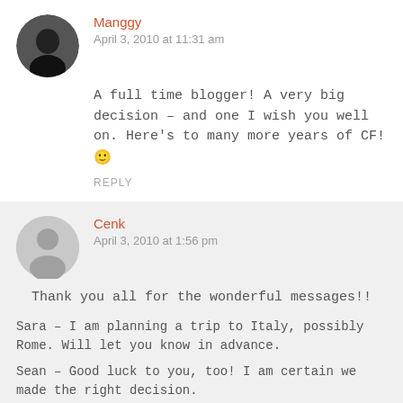Manggy
April 3, 2010 at 11:31 am
A full time blogger! A very big decision – and one I wish you well on. Here's to many more years of CF! 🙂
REPLY
Cenk
April 3, 2010 at 1:56 pm
Thank you all for the wonderful messages!!
Sara – I am planning a trip to Italy, possibly Rome. Will let you know in advance.
Sean – Good luck to you, too! I am certain we made the right decision.
Annie – That is the nicest thing I've heard today! Thank you.
Julia – So true. Thanks for the motivation.